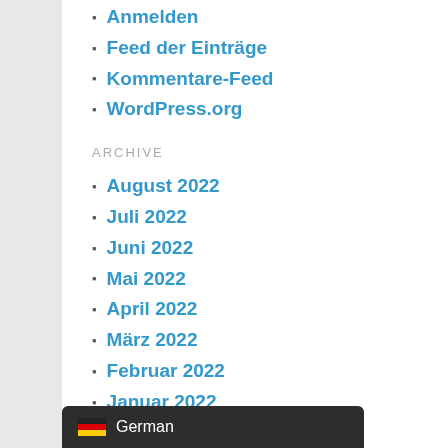Anmelden
Feed der Einträge
Kommentare-Feed
WordPress.org
ARCHIVE
August 2022
Juli 2022
Juni 2022
Mai 2022
April 2022
März 2022
Februar 2022
Januar 2022
Dezember 2021
November 2021
Oktober 2021
September 2021
August 2021
German